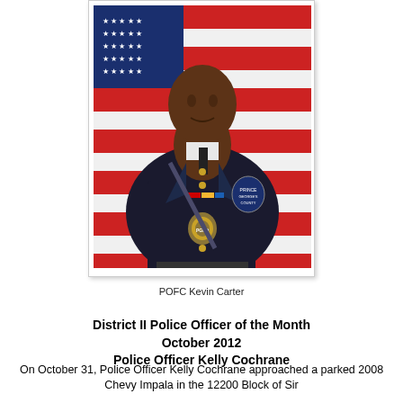[Figure (photo): Official police portrait of POFC Kevin Carter in dress uniform, standing in front of an American flag. He wears a dark navy uniform with gold buttons, a badge, service ribbons, and a shoulder patch.]
POFC Kevin Carter
District II Police Officer of the Month
October 2012
Police Officer Kelly Cochrane
On October 31, Police Officer Kelly Cochrane approached a parked 2008 Chevy Impala in the 12200 Block of Sir Lancelot Drive in Slope Park. She noticed that the vehicle